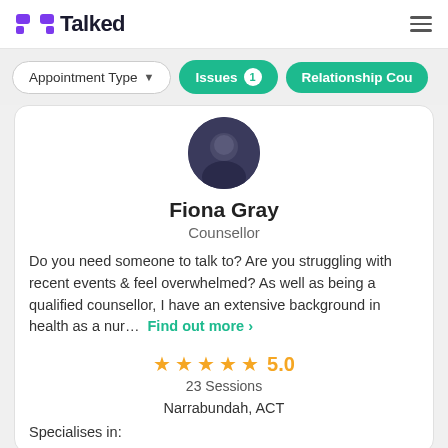Talked
Appointment Type   Issues 1   Relationship Cou...
[Figure (photo): Circular profile photo of Fiona Gray, a counsellor, showing a person with dark background]
Fiona Gray
Counsellor
Do you need someone to talk to? Are you struggling with recent events & feel overwhelmed? As well as being a qualified counsellor, I have an extensive background in health as a nur...  Find out more >
★★★★★ 5.0
23 Sessions
Narrabundah, ACT
Specialises in: